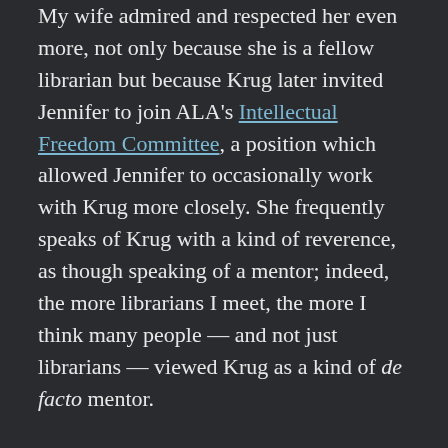My wife admired and respected her even more, not only because she is a fellow librarian but because Krug later invited Jennifer to join ALA's Intellectual Freedom Committee, a position which allowed Jennifer to occasionally work with Krug more closely. She frequently speaks of Krug with a kind of reverence, as though speaking of a mentor; indeed, the more librarians I meet, the more I think many people — and not just librarians — viewed Krug as a kind of de facto mentor.
On April 11 this year, Judith Krug died. The nation mourned. (President Obama sent her family a letter of condolence.) But a nation also celebrated her life, none more enthusiastically than librarians and, among librarians, none more than Krug's friends and colleagues at ALA.